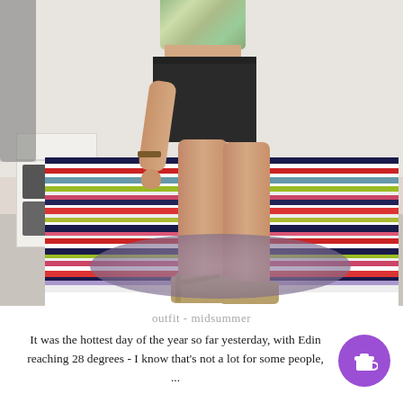[Figure (photo): A person wearing black denim shorts, a floral crop top, and gold sandals, standing beside a bed with colorful striped bedding in a bedroom with a white nightstand and a circular rug on the floor.]
outfit - midsummer
It was the hottest day of the year so far yesterday, with Edin reaching 28 degrees - I know that's not a lot for some people, ...